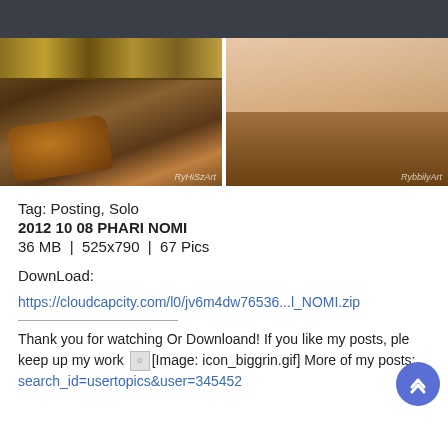[Figure (photo): Two cropped photos side by side: left shows ornate wooden headboard with gold accents and orange/brown pillows; right shows skin and wooden furniture surface. Left watermark: RyHiSzArt, Right watermark: RybbilyArt]
Tag: Posting, Solo
2012 10 08 PHARI NOMI
36 MB | 525x790 | 67 Pics
DownLoad:
https://cloudcapcity.com/l0/jv6m4dw76536...l_NOMI.zip
Thank you for watching Or Downloand! If you like my posts, ple keep up my work [Image: icon_biggrin.gif] More of my posts: search_id=usertopics&user=345452